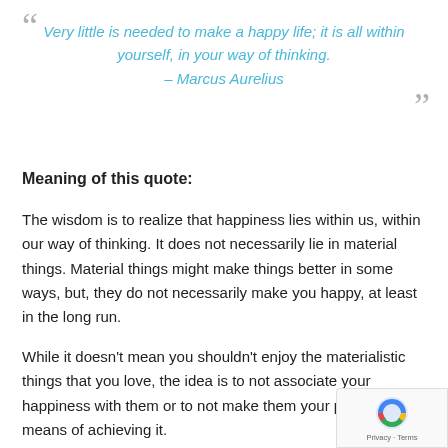Very little is needed to make a happy life; it is all within yourself, in your way of thinking. – Marcus Aurelius
Meaning of this quote:
The wisdom is to realize that happiness lies within us, within our way of thinking. It does not necessarily lie in material things. Material things might make things better in some ways, but, they do not necessarily make you happy, at least in the long run.
While it doesn’t mean you shouldn’t enjoy the materialistic things that you love, the idea is to not associate your happiness with them or to not make them your primary means of achieving it.